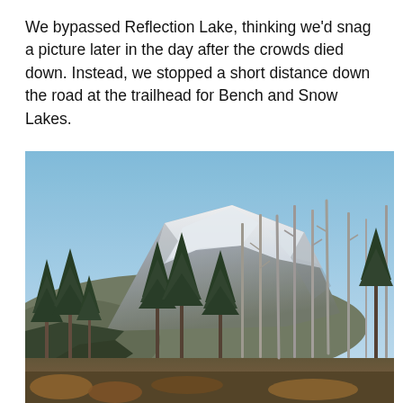We bypassed Reflection Lake, thinking we'd snag a picture later in the day after the crowds died down. Instead, we stopped a short distance down the road at the trailhead for Bench and Snow Lakes.
[Figure (photo): Outdoor photograph of a snow-capped mountain (likely Mount Rainier) visible above a treeline of evergreen and dead standing trees, with scrubby foreground vegetation under a clear blue sky.]